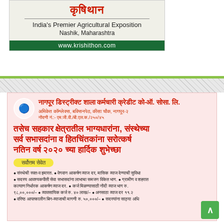[Figure (logo): Krishithon logo banner with Devanagari text, subtitle 'India's Premier Agricultural Exposition', location 'Nashik, Maharashtra', and green URL bar with www.krishithon.com]
[Figure (infographic): Pink-background advertisement card for Nagpur District School Employee Credit Co-Op Society Ltd with Devanagari text greetings and bullet points about services]